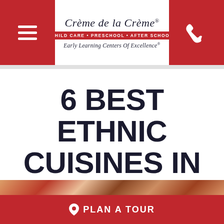[Figure (logo): Crème de la Crème logo with tagline 'CHILD CARE • PRESCHOOL • AFTER SCHOOL' and 'Early Learning Centers Of Excellence']
6 BEST ETHNIC CUISINES IN ALPHARETTA, GA
AUGUST 3, 2021
[Figure (photo): Food image strip showing ethnic cuisine dishes]
PLAN A TOUR